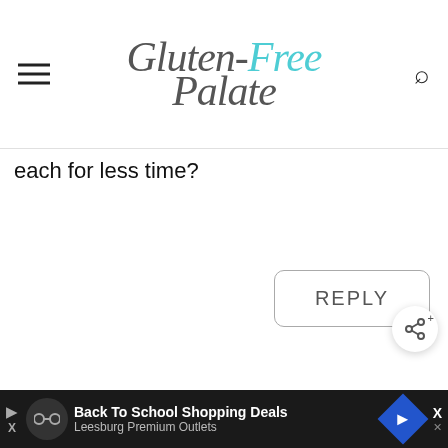Gluten-Free Palate
each for less time?
REPLY
chrystal
March 30, 2022 at 6:46 am
Hi Brittany,
Yes, this cake works as a 3 layer 6"
[Figure (screenshot): Advertisement bar at bottom: Back To School Shopping Deals - Leesburg Premium Outlets]